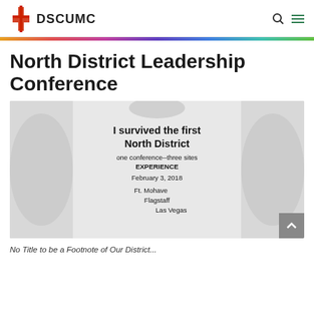DSCUMC
North District Leadership Conference
[Figure (photo): A white t-shirt with text: 'I survived the first North District one conference--three sites EXPERIENCE February 3, 2018 Ft. Mohave Flagstaff Las Vegas']
No Title to be a Footnote of Our District...